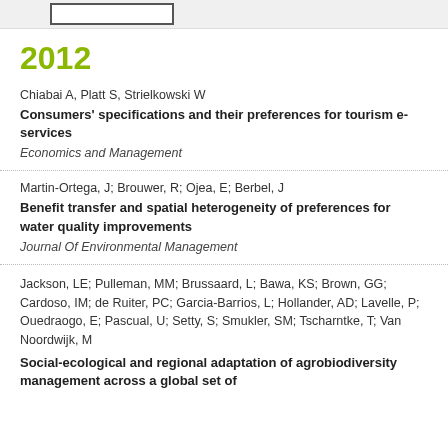2012
Chiabai A, Platt S, Strielkowski W
Consumers' specifications and their preferences for tourism e-services
Economics and Management
Martin-Ortega, J; Brouwer, R; Ojea, E; Berbel, J
Benefit transfer and spatial heterogeneity of preferences for water quality improvements
Journal Of Environmental Management
Jackson, LE; Pulleman, MM; Brussaard, L; Bawa, KS; Brown, GG; Cardoso, IM; de Ruiter, PC; Garcia-Barrios, L; Hollander, AD; Lavelle, P; Ouedraogo, E; Pascual, U; Setty, S; Smukler, SM; Tscharntke, T; Van Noordwijk, M
Social-ecological and regional adaptation of agrobiodiversity management across a global set of